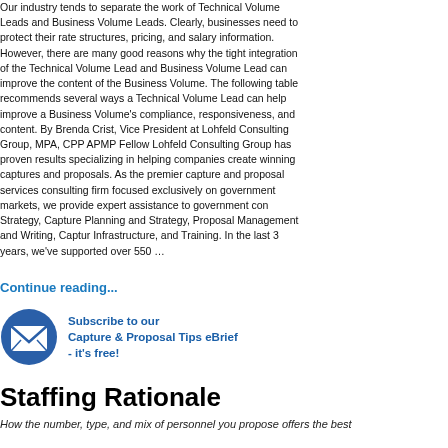Our industry tends to separate the work of Technical Volume Leads and Business Volume Leads. Clearly, businesses need to protect their rate structures, pricing, and salary information. However, there are many good reasons why the tight integration of the Technical Volume Lead and Business Volume Lead can improve the content of the Business Volume. The following table recommends several ways a Technical Volume Lead can help improve a Business Volume’s compliance, responsiveness, and content. By Brenda Crist, Vice President at Lohfeld Consulting Group, MPA, CPP APMP Fellow Lohfeld Consulting Group has proven results specializing in helping companies create winning captures and proposals. As the premier capture and proposal services consulting firm focused exclusively on government markets, we provide expert assistance to government con Strategy, Capture Planning and Strategy, Proposal Management and Writing, Captur Infrastructure, and Training. In the last 3 years, we’ve supported over 550 …
[Figure (table-as-image): Partial table of contents with No. and Business Volume/Requirements columns, showing rows for Introduction, Assumptions/Conditions/Exceptions, Subcontracting or Subcontract Administration, Bill of Materials (BOM), Travel, Basis of Estimate (BOE), Business Volume Bottom Line]
Continue reading...
[Figure (infographic): Email envelope icon in blue circle followed by subscribe text]
Subscribe to our Capture & Proposal Tips eBrief - it's free!
Staffing Rationale
How the number, type, and mix of personnel you propose offers the best